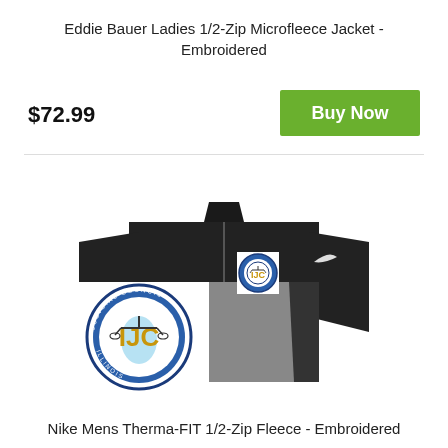Eddie Bauer Ladies 1/2-Zip Microfleece Jacket - Embroidered
$72.99
Buy Now
[Figure (photo): Nike mens therma-fit 1/2-zip fleece jacket in black and gray with IJC embroidered logo on chest, shown with a larger IJC logo overlay in bottom left]
Nike Mens Therma-FIT 1/2-Zip Fleece - Embroidered